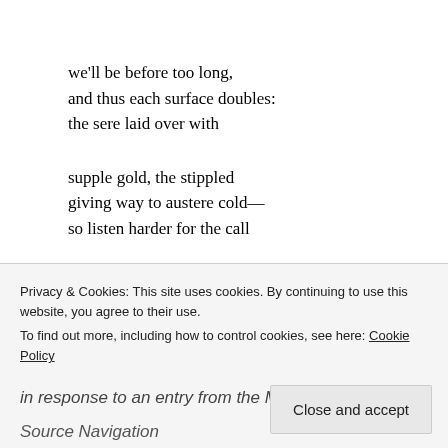we'll be before too long,
and thus each surface doubles:
the sere laid over with

supple gold, the stippled
giving way to austere cold—
so listen harder for the call

of all you thought was lost or perished,
familiars finding their way back through
Privacy & Cookies: This site uses cookies. By continuing to use this website, you agree to their use.
To find out more, including how to control cookies, see here: Cookie Policy
in response to an entry from the Magazine Porch...
Source Navigation